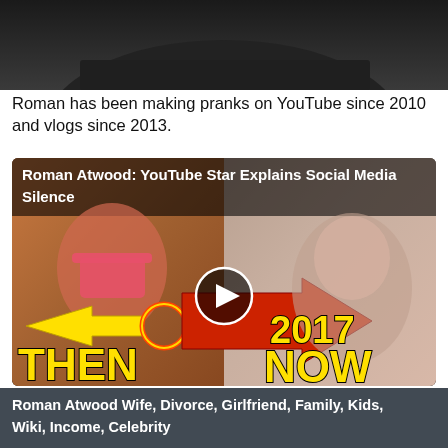[Figure (photo): Top portion of a photo showing a person in a dark top, cropped at the shoulders]
Roman has been making pranks on YouTube since 2010 and vlogs since 2013.
[Figure (screenshot): Video thumbnail with title 'Roman Atwood: YouTube Star Explains Social Media Silence'. Shows split screen: left side woman in pink bikini with yellow arrow and circle annotation and text THEN, right side woman with text 2017 NOW. Red arrow overlays center. Play button in middle.]
They said they would change their numbers and the stalkers would still track it down.
[Figure (screenshot): Partial video thumbnail with title 'Roman Atwood Wife, Divorce, Girlfriend, Family, Kids, Wiki, Income, Celebrity']